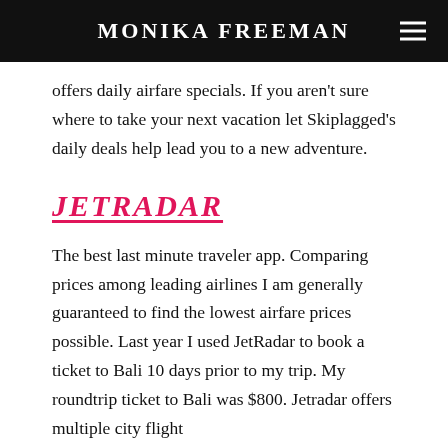MONIKA FREEMAN
offers daily airfare specials. If you aren't sure where to take your next vacation let Skiplagged's daily deals help lead you to a new adventure.
JETRADAR
The best last minute traveler app. Comparing prices among leading airlines I am generally guaranteed to find the lowest airfare prices possible. Last year I used JetRadar to book a ticket to Bali 10 days prior to my trip. My roundtrip ticket to Bali was $800. Jetradar offers multiple city flight